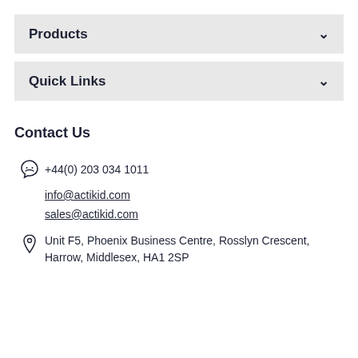Products
Quick Links
Contact Us
+44(0) 203 034 1011
info@actikid.com
sales@actikid.com
Unit F5, Phoenix Business Centre, Rosslyn Crescent, Harrow, Middlesex, HA1 2SP